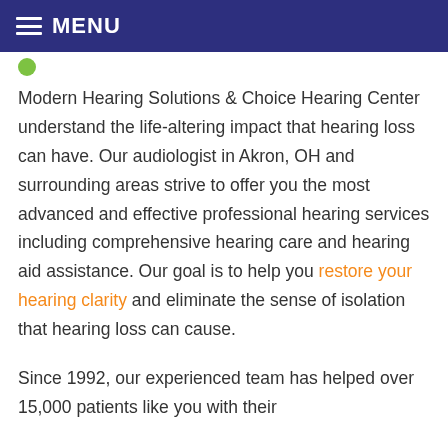MENU
Modern Hearing Solutions & Choice Hearing Center understand the life-altering impact that hearing loss can have. Our audiologist in Akron, OH and surrounding areas strive to offer you the most advanced and effective professional hearing services including comprehensive hearing care and hearing aid assistance. Our goal is to help you restore your hearing clarity and eliminate the sense of isolation that hearing loss can cause.
Since 1992, our experienced team has helped over 15,000 patients like you with their